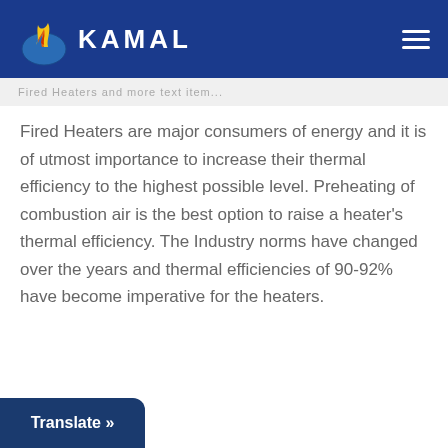[Figure (logo): Kamal company logo with flame icon on dark blue header bar with hamburger menu icon on the right]
Fired Heaters and more text item...
Fired Heaters are major consumers of energy and it is of utmost importance to increase their thermal efficiency to the highest possible level. Preheating of combustion air is the best option to raise a heater's thermal efficiency. The Industry norms have changed over the years and thermal efficiencies of 90-92% have become imperative for the heaters.
Translate »